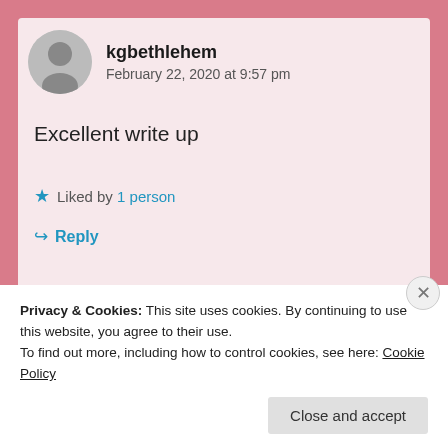kgbethlehem
February 22, 2020 at 9:57 pm
Excellent write up
★ Liked by 1 person
↳ Reply
Privacy & Cookies: This site uses cookies. By continuing to use this website, you agree to their use.
To find out more, including how to control cookies, see here: Cookie Policy
Close and accept